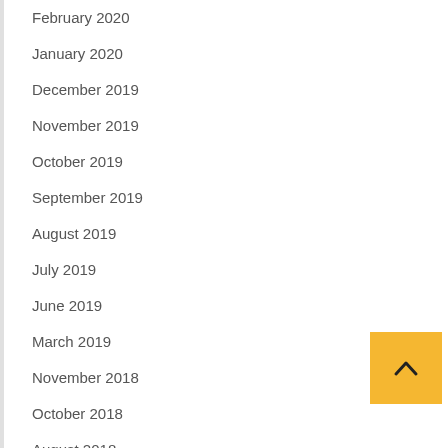February 2020
January 2020
December 2019
November 2019
October 2019
September 2019
August 2019
July 2019
June 2019
March 2019
November 2018
October 2018
August 2018
June 2018